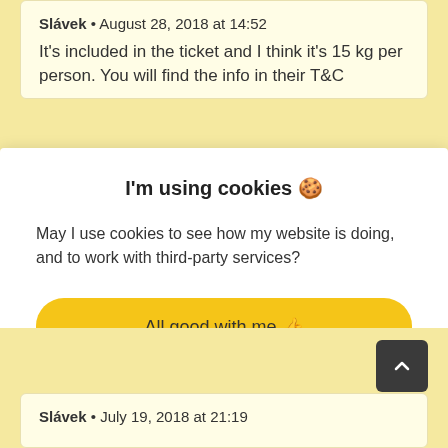Slávek • August 28, 2018 at 14:52
It's included in the ticket and I think it's 15 kg per person. You will find the info in their T&C
I'm using cookies 🍪
May I use cookies to see how my website is doing, and to work with third-party services?
All good with me 👍
Let me set it up ⚙
Slávek • July 19, 2018 at 21:19